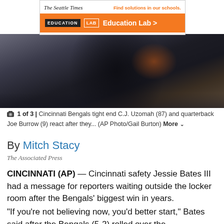[Figure (photo): Ad banner for The Seattle Times Education Lab with orange background and text 'Find solutions in our schools. Education Lab >']
[Figure (photo): Photo of Cincinnati Bengals players, showing torsos with black and orange uniforms]
1 of 3 | Cincinnati Bengals tight end C.J. Uzomah (87) and quarterback Joe Burrow (9) react after they... (AP Photo/Gail Burton) More
By Mitch Stacy
The Associated Press
CINCINNATI (AP) — Cincinnati safety Jessie Bates III had a message for reporters waiting outside the locker room after the Bengals' biggest win in years.
“If you’re not believing now, you’d better start,” Bates said after the Bengals (5-2) rolled over the